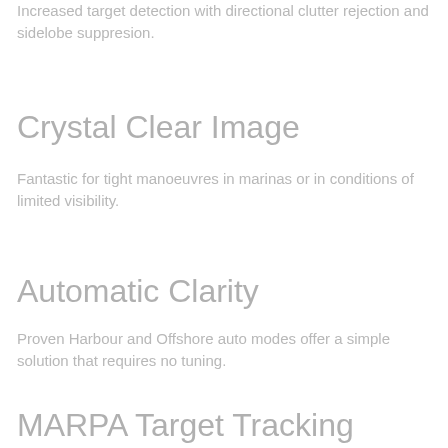Increased target detection with directional clutter rejection and sidelobe suppresion.
Crystal Clear Image
Fantastic for tight manoeuvres in marinas or in conditions of limited visibility.
Automatic Clarity
Proven Harbour and Offshore auto modes offer a simple solution that requires no tuning.
MARPA Target Tracking